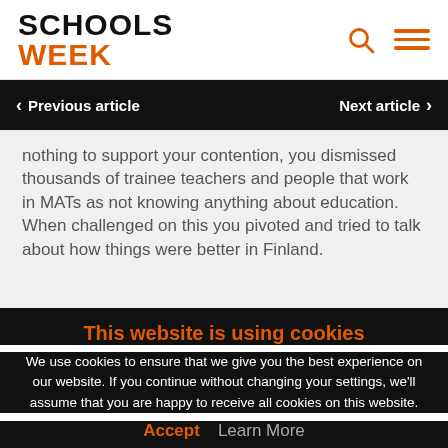SCHOOLS WEEK
Previous article   Next article
nothing to support your contention, you dismissed thousands of trainee teachers and people that work in MATs as not knowing anything about education. When challenged on this you pivoted and tried to talk about how things were better in Finland.
This website is using cookies
We use cookies to ensure that we give you the best experience on our website. If you continue without changing your settings, we'll assume that you are happy to receive all cookies on this website.
Accept   Learn More
in academic... It was pointed out that... in an LA school you pivoted and started talking